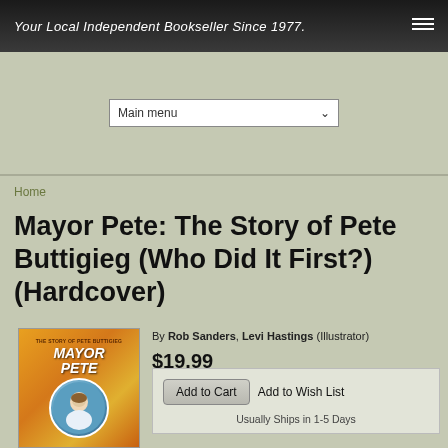Your Local Independent Bookseller Since 1977.
Main menu
Home
Mayor Pete: The Story of Pete Buttigieg (Who Did It First?) (Hardcover)
[Figure (illustration): Book cover for Mayor Pete: The Story of Pete Buttigieg, showing the title in stylized text on an orange background with a circular portrait illustration]
By Rob Sanders, Levi Hastings (Illustrator)
$19.99
Add to Cart
Add to Wish List
Usually Ships in 1-5 Days